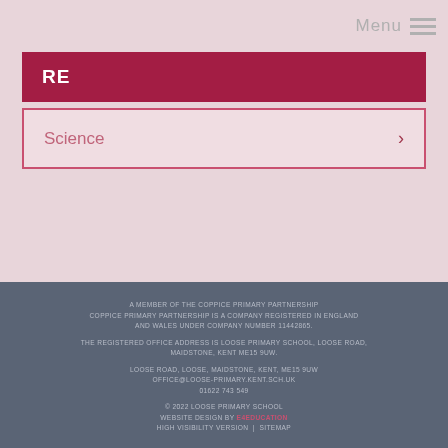Menu
RE
Science
A MEMBER OF THE COPPICE PRIMARY PARTNERSHIP
COPPICE PRIMARY PARTNERSHIP IS A COMPANY REGISTERED IN ENGLAND AND WALES UNDER COMPANY NUMBER 11442865.

THE REGISTERED OFFICE ADDRESS IS LOOSE PRIMARY SCHOOL, LOOSE ROAD, MAIDSTONE, KENT ME15 9UW.

LOOSE ROAD, LOOSE, MAIDSTONE, KENT, ME15 9UW
OFFICE@LOOSE-PRIMARY.KENT.SCH.UK
01622 743 549

© 2022 LOOSE PRIMARY SCHOOL
WEBSITE DESIGN BY E4EDUCATION
HIGH VISIBILITY VERSION | SITEMAP